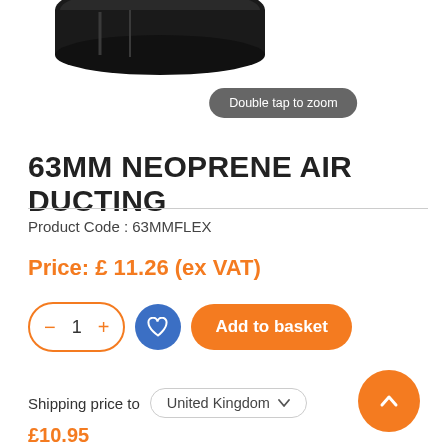[Figure (photo): Top portion of a black neoprene air ducting hose product shown from above against white background]
Double tap to zoom
63MM NEOPRENE AIR DUCTING
Product Code : 63MMFLEX
Price: £ 11.26 (ex VAT)
1
Add to basket
Shipping price to   United Kingdom
£10.95